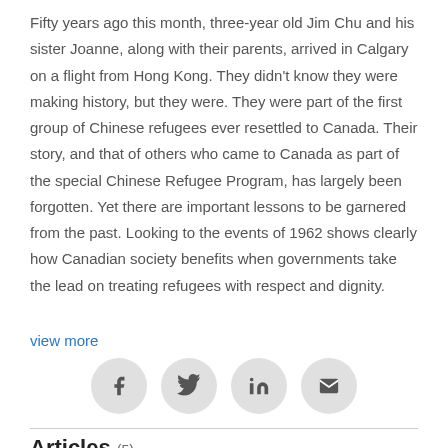Fifty years ago this month, three-year old Jim Chu and his sister Joanne, along with their parents, arrived in Calgary on a flight from Hong Kong. They didn't know they were making history, but they were. They were part of the first group of Chinese refugees ever resettled to Canada. Their story, and that of others who came to Canada as part of the special Chinese Refugee Program, has largely been forgotten. Yet there are important lessons to be garnered from the past. Looking to the events of 1962 shows clearly how Canadian society benefits when governments take the lead on treating refugees with respect and dignity.
view more
[Figure (infographic): Four social sharing icon buttons in circles: Facebook, Twitter, LinkedIn, Email]
Articles (5)